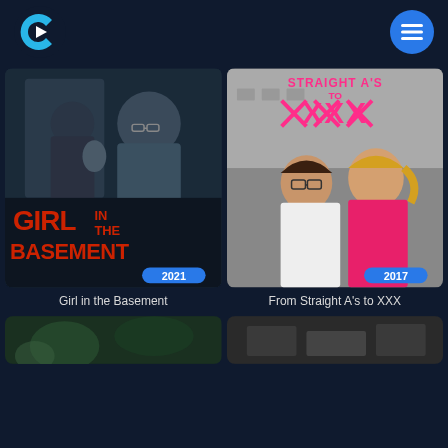[Figure (logo): Streaming app logo - letter C shape in cyan/white on dark navy background]
[Figure (screenshot): Menu/hamburger button - blue circle with three white horizontal lines]
[Figure (photo): Movie poster: Girl in the Basement (2021) - dark thriller poster with man and girl, red bold text title at bottom, year badge 2021]
[Figure (photo): Movie poster: From Straight A's to XXX (2017) - two young women in pink, bold pink XXX text at top, year badge 2017]
Girl in the Basement
From Straight A's to XXX
[Figure (photo): Partial movie poster at bottom left - dark green tones]
[Figure (photo): Partial movie poster at bottom right - dark gray tones]